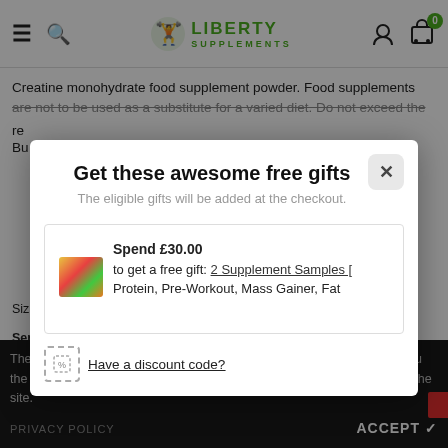Liberty Supplements
Creatine monohydrate food supplement powder. Food supplements are not to be used as a substitute for a varied diet. Do not exceed the recommended daily dose. Bu...
Get these awesome free gifts
The eligible gifts will be added at the checkout.
Spend £30.00 to get a free gift: 2 Supplement Samples [ Protein, Pre-Workout, Mass Gainer, Fat
Have a discount code?
The cookie settings on this website are set to 'allow all cookies' to give you the very best experience. Please click Accept Cookies to continue to use the site.
Servings: 93
Serving size: 5.6g
PRIVACY POLICY    ACCEPT ✓